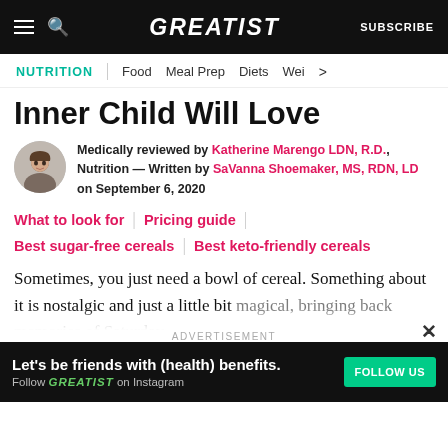GREATIST | SUBSCRIBE
NUTRITION | Food | Meal Prep | Diets | Wei >
Inner Child Will Love
Medically reviewed by Katherine Marengo LDN, R.D., Nutrition — Written by SaVanna Shoemaker, MS, RDN, LD on September 6, 2020
What to look for | Pricing guide |
Best sugar-free cereals | Best keto-friendly cereals
Sometimes, you just need a bowl of cereal. Something about it is nostalgic and just a little bit magical, bringing back memories of Saturday
ADVERTISEMENT
Let's be friends with (health) benefits. Follow GREATIST on Instagram FOLLOW US